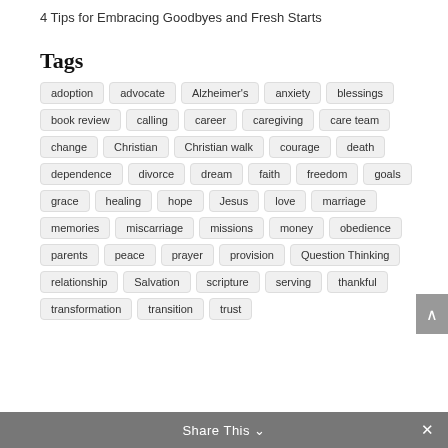4 Tips for Embracing Goodbyes and Fresh Starts
Tags
adoption
advocate
Alzheimer's
anxiety
blessings
book review
calling
career
caregiving
care team
change
Christian
Christian walk
courage
death
dependence
divorce
dream
faith
freedom
goals
grace
healing
hope
Jesus
love
marriage
memories
miscarriage
missions
money
obedience
parents
peace
prayer
provision
Question Thinking
relationship
Salvation
scripture
serving
thankful
transformation
transition
trust
Share This ∨  ✕